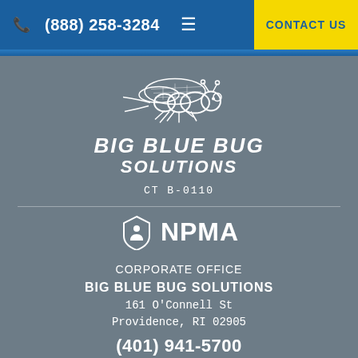(888) 258-3284  ≡  CONTACT US
[Figure (logo): Big Blue Bug Solutions logo — stylized bug illustration above bold italic text 'BIG BLUE BUG SOLUTIONS' in white]
CT B-0110
[Figure (logo): NPMA shield logo with person icon followed by text 'NPMA' in white]
CORPORATE OFFICE
BIG BLUE BUG SOLUTIONS
161 O'Connell St
Providence, RI 02905
(401) 941-5700
MASSACHUSETTS OFFICE